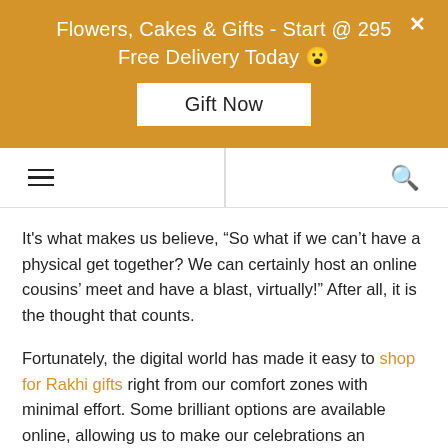Flowers, Cakes & Gifts - Start @ 295
Free Delivery Today 😮
Gift Now
It's what makes us believe, “So what if we can't have a physical get together? We can certainly host an online cousins’ meet and have a blast, virtually!” After all, it is the thought that counts.
Fortunately, the digital world has made it easy to shop for Rakhi gifts right from our comfort zones with minimal effort. Some brilliant options are available online, allowing us to make our celebrations an enjoyable one, despite the distance.